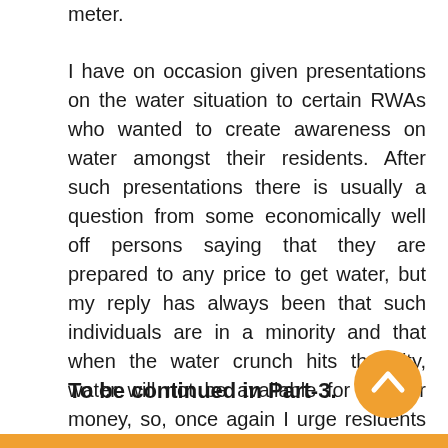meter.
I have on occasion given presentations on the water situation to certain RWAs who wanted to create awareness on water amongst their residents. After such presentations there is usually a question from some economically well off persons saying that they are prepared to any price to get water, but my reply has always been that such individuals are in a minority and that when the water crunch hits the city, water will not be available for love or money, so, once again I urge residents of this city to REDUCE their usage of water.
To be continued in Part-3.
[Figure (other): Orange circular scroll-to-top button with upward chevron arrow]